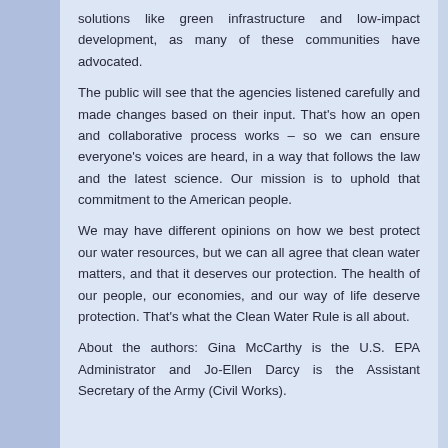solutions like green infrastructure and low-impact development, as many of these communities have advocated.
The public will see that the agencies listened carefully and made changes based on their input. That's how an open and collaborative process works – so we can ensure everyone's voices are heard, in a way that follows the law and the latest science. Our mission is to uphold that commitment to the American people.
We may have different opinions on how we best protect our water resources, but we can all agree that clean water matters, and that it deserves our protection. The health of our people, our economies, and our way of life deserve protection. That's what the Clean Water Rule is all about.
About the authors: Gina McCarthy is the U.S. EPA Administrator and Jo-Ellen Darcy is the Assistant Secretary of the Army (Civil Works).